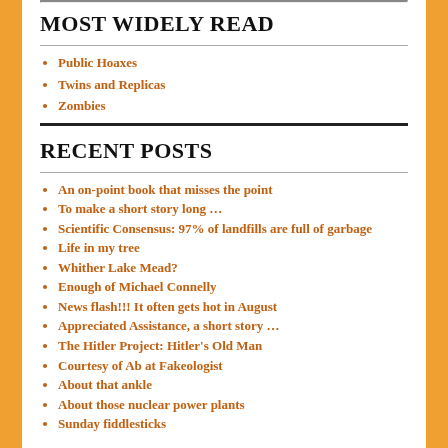MOST WIDELY READ
Public Hoaxes
Twins and Replicas
Zombies
RECENT POSTS
An on-point book that misses the point
To make a short story long …
Scientific Consensus: 97% of landfills are full of garbage
Life in my tree
Whither Lake Mead?
Enough of Michael Connelly
News flash!!! It often gets hot in August
Appreciated Assistance, a short story …
The Hitler Project: Hitler's Old Man
Courtesy of Ab at Fakeologist
About that ankle
About those nuclear power plants
Sunday fiddlesticks